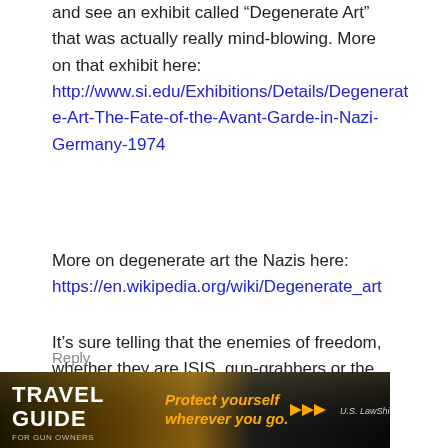and see an exhibit called “Degenerate Art” that was actually really mind-blowing. More on that exhibit here: http://www.si.edu/Exhibitions/Details/Degenerate-Art-The-Fate-of-the-Avant-Garde-in-Nazi-Germany-1974
More on degenerate art the Nazis here: https://en.wikipedia.org/wiki/Degenerate_art
It’s sure telling that the enemies of freedom, whether they are ISIS, gun-grabbers or the mini-fascists on college campuses all seem to be running the Nazi playbook.
Reply
[Figure (photo): Advertisement banner for Travel Guide for Gun Owners and U.S. LawShield, featuring text 'Protect yourself wherever you go.' with orange arrows on a dark background.]